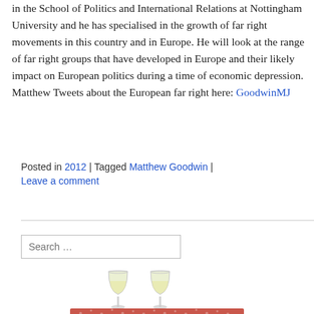in the School of Politics and International Relations at Nottingham University and he has specialised in the growth of far right movements in this country and in Europe. He will look at the range of far right groups that have developed in Europe and their likely impact on European politics during a time of economic depression. Matthew Tweets about the European far right here: GoodwinMJ
Posted in 2012 | Tagged Matthew Goodwin | Leave a comment
[Figure (illustration): Two wine glasses with white wine on a decorative red patterned tablecloth/base]